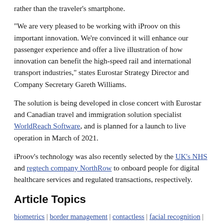rather than the traveler's smartphone.
“We are very pleased to be working with iProov on this important innovation. We’re convinced it will enhance our passenger experience and offer a live illustration of how innovation can benefit the high-speed rail and international transport industries,” states Eurostar Strategy Director and Company Secretary Gareth Williams.
The solution is being developed in close concert with Eurostar and Canadian travel and immigration solution specialist WorldReach Software, and is planned for a launch to live operation in March of 2021.
iProov’s technology was also recently selected by the UK’s NHS and regtech company NorthRow to onboard people for digital healthcare services and regulated transactions, respectively.
Article Topics
biometrics | border management | contactless | facial recognition | identity document | identity verification | iProov |